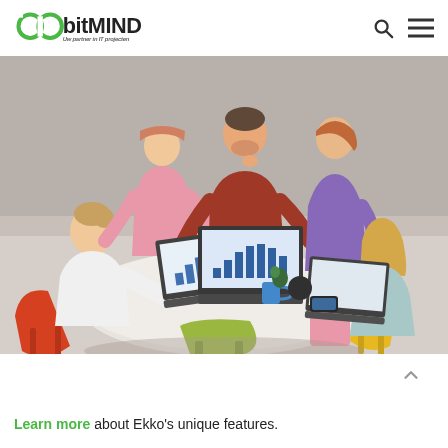bitMIND — Uw partner in IT projecten
[Figure (photo): Group of young professionals sitting and standing around a round white table, working on laptops showing bar charts, in a colorful modern office with yellow, red, and green chairs.]
Learn more about Ekko's unique features.